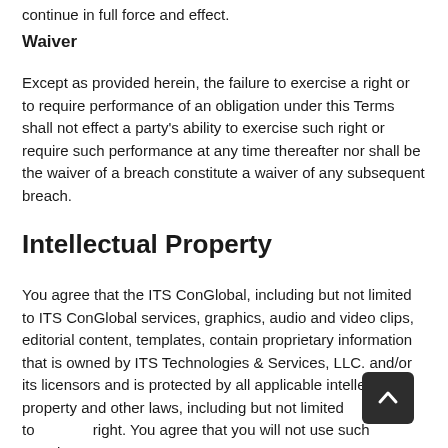continue in full force and effect.
Waiver
Except as provided herein, the failure to exercise a right or to require performance of an obligation under this Terms shall not effect a party's ability to exercise such right or require such performance at any time thereafter nor shall be the waiver of a breach constitute a waiver of any subsequent breach.
Intellectual Property
You agree that the ITS ConGlobal, including but not limited to ITS ConGlobal services, graphics, audio and video clips, editorial content, templates, contain proprietary information that is owned by ITS Technologies & Services, LLC. and/or its licensors and is protected by all applicable intellectual property and other laws, including but not limited to copyright. You agree that you will not use such proprietary